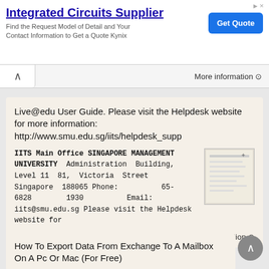[Figure (screenshot): Advertisement banner for Integrated Circuits Supplier with Get Quote button]
Integrated Circuits Supplier
Find the Request Model of Detail and Your Contact Information to Get a Quote Kynix
More information →
Live@edu User Guide. Please visit the Helpdesk website for more information: http://www.smu.edu.sg/iits/helpdesk_supp
IITS Main Office SINGAPORE MANAGEMENT UNIVERSITY Administration Building, Level 11 81, Victoria Street Singapore 188065 Phone: 65-6828 1930 Email: iits@smu.edu.sg Please visit the Helpdesk website for
More information →
How To Export Data From Exchange To A Mailbox On A Dr Or Mac (For Free)